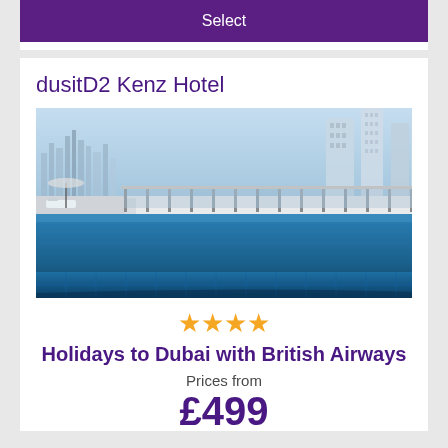Select
dusitD2 Kenz Hotel
[Figure (photo): Rooftop infinity pool of dusitD2 Kenz Hotel with Dubai skyline in background, blue pool water, glass railings, lounge chairs visible]
★★★★ (4 stars)
Holidays to Dubai with British Airways
Prices from
£499